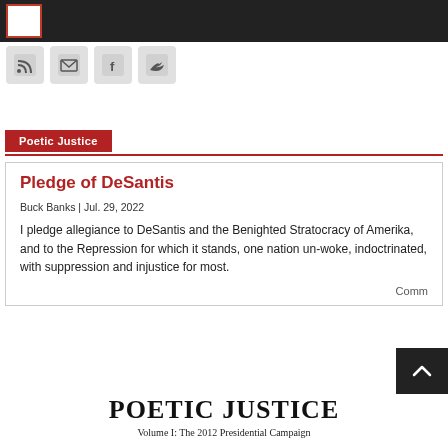Menu / Navigation bar with hamburger button and social icons (RSS, Email, Facebook, Twitter)
Poetic Justice
Pledge of DeSantis
Buck Banks | Jul. 29, 2022
I pledge allegiance to DeSantis and the Benighted Stratocracy of Amerika, and to the Repression for which it stands, one nation un-woke, indoctrinated, with suppression and injustice for most.
Comm...
[Figure (other): POETIC JUSTICE banner with subtitle Volume I: The 2012 Presidential Campaign]